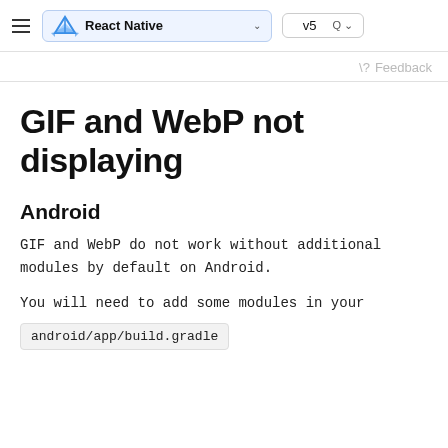React Native  v5  Feedback
GIF and WebP not displaying
Android
GIF and WebP do not work without additional modules by default on Android.
You will need to add some modules in your
android/app/build.gradle